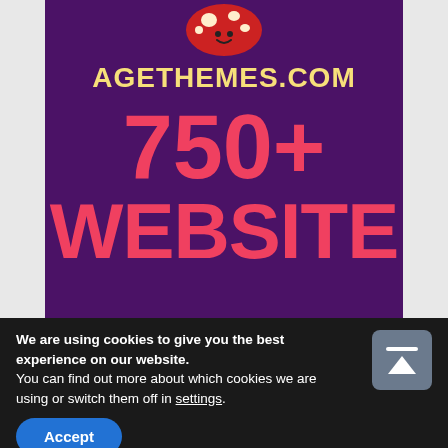[Figure (illustration): Screenshot of agethemes.com website banner. Purple background with a mushroom character at the top, site name AGETHEMES.COM in yellow bold text, 750+ in large red bold text, and WEBSITE in large red bold text below.]
We are using cookies to give you the best experience on our website.
You can find out more about which cookies we are using or switch them off in settings.
Accept